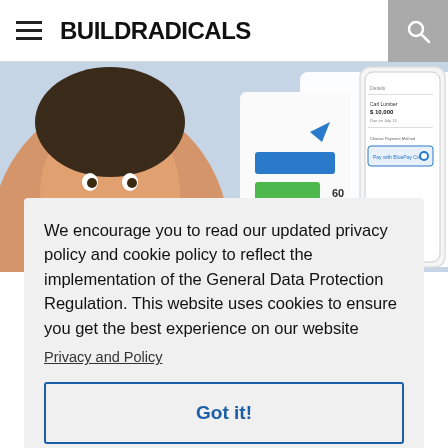BUILDRADICALS
[Figure (photo): Hero image showing a smiling bearded man on the left, a mobile app interface with bar chart showing 60 days and 90 days labels, and a smartphone showing payment details on the right]
We encourage you to read our updated privacy policy and cookie policy to reflect the implementation of the General Data Protection Regulation. This website uses cookies to ensure you get the best experience on our website
Privacy and Policy
Got it!